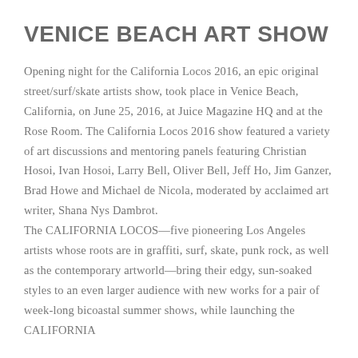VENICE BEACH ART SHOW
Opening night for the California Locos 2016, an epic original street/surf/skate artists show, took place in Venice Beach, California, on June 25, 2016, at Juice Magazine HQ and at the Rose Room. The California Locos 2016 show featured a variety of art discussions and mentoring panels featuring Christian Hosoi, Ivan Hosoi, Larry Bell, Oliver Bell, Jeff Ho, Jim Ganzer, Brad Howe and Michael de Nicola, moderated by acclaimed art writer, Shana Nys Dambrot. The CALIFORNIA LOCOS—five pioneering Los Angeles artists whose roots are in graffiti, surf, skate, punk rock, as well as the contemporary artworld—bring their edgy, sun-soaked styles to an even larger audience with new works for a pair of week-long bicoastal summer shows, while launching the CALIFORNIA